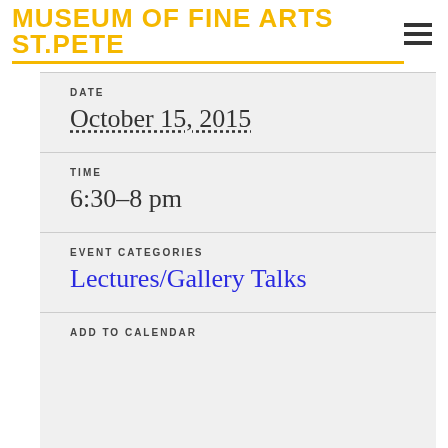MUSEUM OF FINE ARTS ST.PETE
DATE
October 15, 2015
TIME
6:30–8 pm
EVENT CATEGORIES
Lectures/Gallery Talks
ADD TO CALENDAR